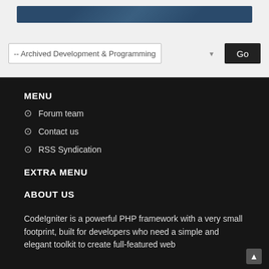[Figure (other): Dark blue textured/patterned horizontal bar banner]
-- Archived Development & Programming
MENU
Forum team
Contact us
RSS Syndication
EXTRA MENU
ABOUT US
CodeIgniter is a powerful PHP framework with a very small footprint, built for developers who need a simple and elegant toolkit to create full-featured web